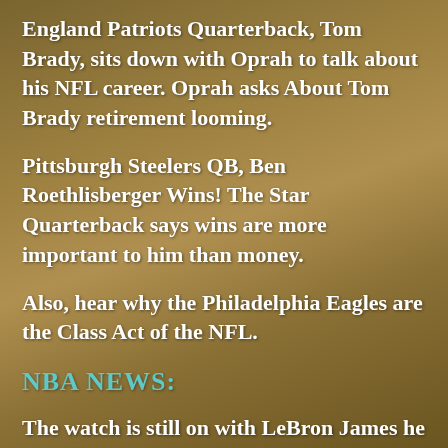England Patriots Quarterback, Tom Brady, sits down with Oprah to talk about his NFL career. Oprah asks About Tom Brady retirement looming.
Pittsburgh Steelers QB, Ben Roethlisberger Wins! The Star Quarterback says wins are more important to him than money.
Also, hear why the Philadelphia Eagles are the Class Act of the NFL.
NBA NEWS:
The watch is still on with LeBron James he has till the 29th to tell the Cleveland Cavalians what he's going to do: stay or leave